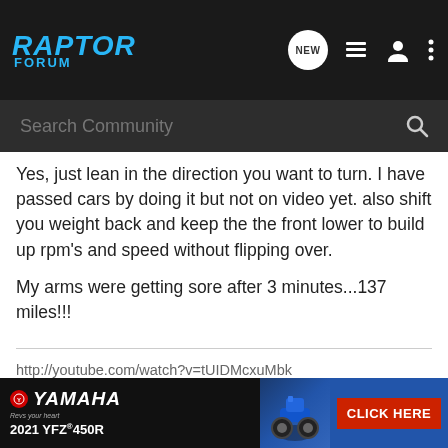RAPTOR FORUM
Yes, just lean in the direction you want to turn. I have passed cars by doing it but not on video yet. also shift you weight back and keep the the front lower to build up rpm's and speed without flipping over.

My arms were getting sore after 3 minutes...137 miles!!!
http://youtube.com/watch?v=tUIDMcxuMbk
[Figure (photo): Yamaha YFZ 450R ATV advertisement banner with blue ATV, red CLICK HERE button, 2021 YFZ 450R text]